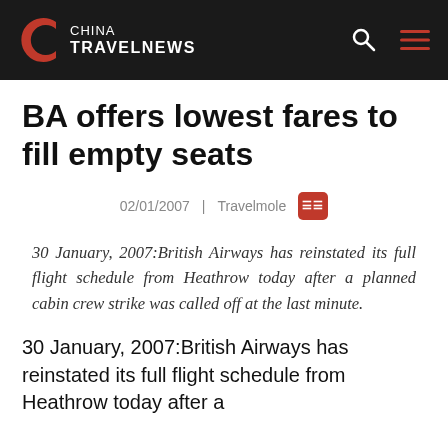CHINA TRAVELNEWS
BA offers lowest fares to fill empty seats
02/01/2007  |  Travelmole
30 January, 2007:British Airways has reinstated its full flight schedule from Heathrow today after a planned cabin crew strike was called off at the last minute.
30 January, 2007:British Airways has reinstated its full flight schedule from Heathrow today after a